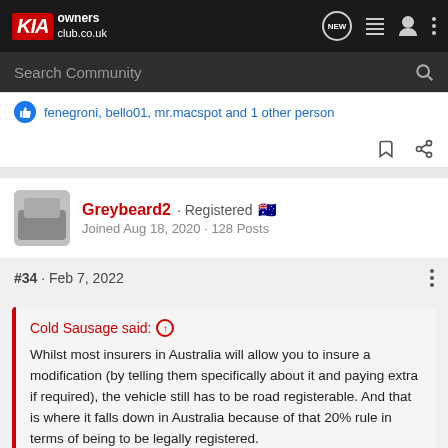KIA owners club.co.uk
Search Community
fenegroni, bello01, mr.macspot and 1 other person
Greybeard2 · Registered
Joined Aug 18, 2020 · 128 Posts
#34 · Feb 7, 2022
Cold Sausage said: ↑
Whilst most insurers in Australia will allow you to insure a modification (by telling them specifically about it and paying extra if required), the vehicle still has to be road registerable. And that is where it falls down in Australia because of that 20% rule in terms of being to be legally registered.